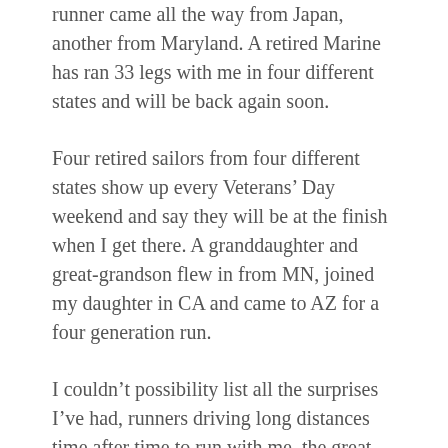runner came all the way from Japan, another from Maryland. A retired Marine has ran 33 legs with me in four different states and will be back again soon.
Four retired sailors from four different states show up every Veterans’ Day weekend and say they will be at the finish when I get there. A granddaughter and great-grandson flew in from MN, joined my daughter in CA and came to AZ for a four generation run.
I couldn’t possibility list all the surprises I’ve had, runners driving long distances time after time to run with me, the great welcoming parties I’ve encountered along the way and all the gifts from organizations and individuals.
GG: Through this process, is there anything you’ve